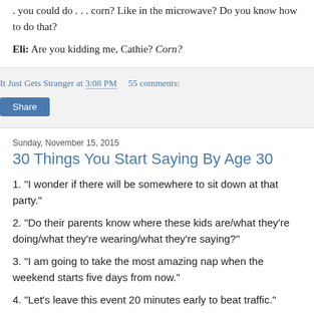. you could do . . . corn? Like in the microwave? Do you know how to do that?
Eli: Are you kidding me, Cathie? Corn?
It Just Gets Stranger at 3:08 PM   55 comments:
Share
Sunday, November 15, 2015
30 Things You Start Saying By Age 30
1. "I wonder if there will be somewhere to sit down at that party."
2. "Do their parents know where these kids are/what they're doing/what they're wearing/what they're saying?"
3. "I am going to take the most amazing nap when the weekend starts five days from now."
4. "Let's leave this event 20 minutes early to beat traffic."
5. "Why can't all parties start at 7:00 and be over by 9:30?"